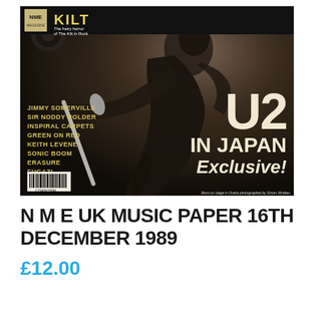[Figure (photo): NME magazine cover showing a performer (Bono of U2) on stage holding a microphone stand, dark background. Top banner reads KILT in yellow. Left side lists artists: Jimmy Somerville, Sir Noddy Holder, Inspiral Carpets, Green On Red, Keith Levene, Sonic Boom, Erasure, Fugazi. Right side has large text: U2 IN JAPAN Exclusive! Barcode in bottom left corner.]
N M E UK MUSIC PAPER 16TH DECEMBER 1989
£12.00